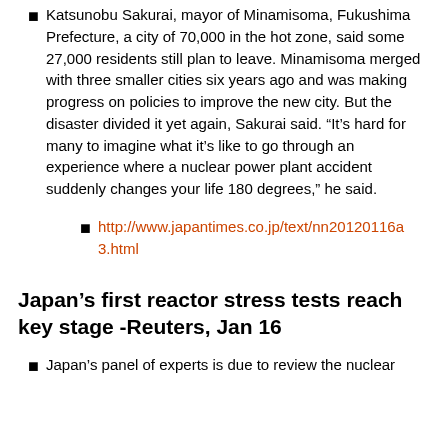Katsunobu Sakurai, mayor of Minamisoma, Fukushima Prefecture, a city of 70,000 in the hot zone, said some 27,000 residents still plan to leave. Minamisoma merged with three smaller cities six years ago and was making progress on policies to improve the new city. But the disaster divided it yet again, Sakurai said. “It’s hard for many to imagine what it’s like to go through an experience where a nuclear power plant accident suddenly changes your life 180 degrees,” he said.
http://www.japantimes.co.jp/text/nn20120116a3.html
Japan’s first reactor stress tests reach key stage -Reuters, Jan 16
Japan’s panel of experts is due to review the nuclear